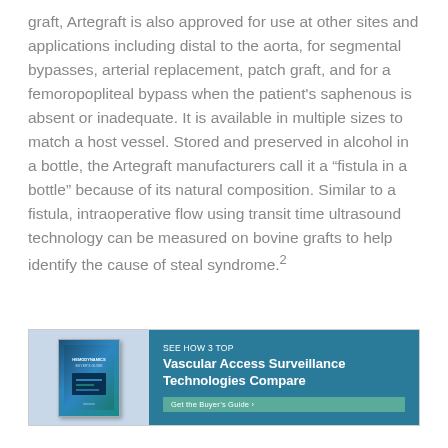graft, Artegraft is also approved for use at other sites and applications including distal to the aorta, for segmental bypasses, arterial replacement, patch graft, and for a femoropopliteal bypass when the patient's saphenous is absent or inadequate. It is available in multiple sizes to match a host vessel. Stored and preserved in alcohol in a bottle, the Artegraft manufacturers call it a “fistula in a bottle” because of its natural composition. Similar to a fistula, intraoperative flow using transit time ultrasound technology can be measured on bovine grafts to help identify the cause of steal syndrome.2
[Figure (other): Advertisement banner for a Buyer's Guide: 'SEE HOW 3 TOP Vascular Access Surveillance Technologies Compare' with a book cover image on the left and a teal/dark blue background. Includes a 'Get the Buyer's Guide' call-to-action button.]